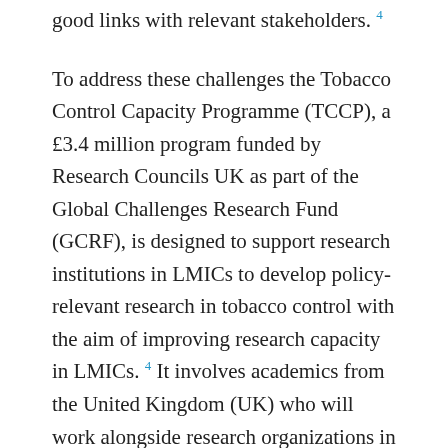good links with relevant stakeholders. [4]
To address these challenges the Tobacco Control Capacity Programme (TCCP), a £3.4 million program funded by Research Councils UK as part of the Global Challenges Research Fund (GCRF), is designed to support research institutions in LMICs to develop policy-relevant research in tobacco control with the aim of improving research capacity in LMICs. [4] It involves academics from the United Kingdom (UK) who will work alongside research organizations in Bangladesh, Ethiopia, The Gambia, India, South Africa, Pakistan, Uganda, and Ghana. As one of the countries participating in the